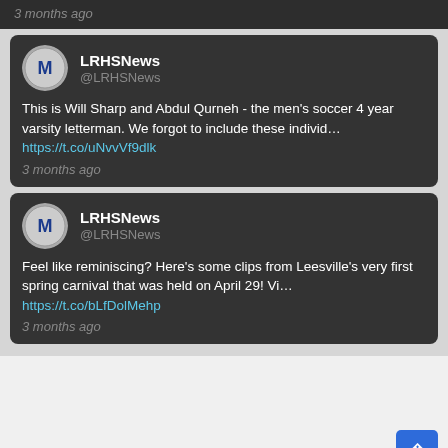3 months ago
LRHSNews @LRHSNews
This is Will Sharp and Abdul Qurneh - the men’s soccer 4 year varsity letterman. We forgot to include these individ… https://t.co/uNvvVf9dlk
3 months ago
LRHSNews @LRHSNews
Feel like reminiscing? Here’s some clips from Leesville’s very first spring carnival that was held on April 29! Vi… https://t.co/bLfDolMehp
3 months ago